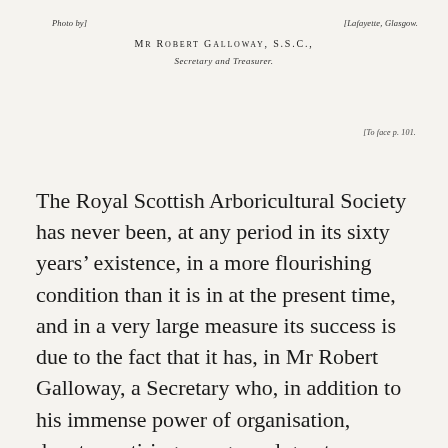Photo by]
[Lafayette, Glasgow.
Mr Robert Galloway, S.S.C., Secretary and Treasurer.
[To face p. 101.
The Royal Scottish Arboricultural Society has never been, at any period in its sixty years’ existence, in a more flourishing condition than it is in at the present time, and in a very large measure its success is due to the fact that it has, in Mr Robert Galloway, a Secretary who, in addition to his immense power of organisation, devotes untiring energy and great enthusiasm to his arduous and many-sided duties. Only those who have been brought more closely into